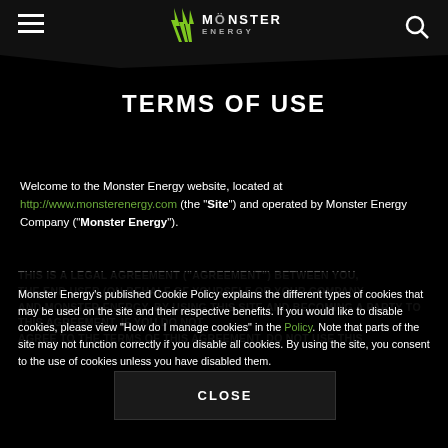Monster Energy — navigation header with menu icon, Monster Energy logo, and search icon
TERMS OF USE
Welcome to the Monster Energy website, located at http://www.monsterenergy.com (the "Site") and operated by Monster Energy Company ("Monster Energy").
THIS IS A LEGAL AGREEMENT ("AGREEMENT") BETWEEN YOU, THE END USER (ON BEHALF OF YOURSELF OR YOUR COMPANY) AND MONSTER ENERGY. BY USING THIS SITE AND BECOMING A PARTY TO THIS AGREEMENT, IF YOU DO NOT AGREE TO THE TERMS OF THIS AGREEMENT, DO NOT USE THIS
Monster Energy's published Cookie Policy explains the different types of cookies that may be used on the site and their respective benefits. If you would like to disable cookies, please view "How do I manage cookies" in the Policy. Note that parts of the site may not function correctly if you disable all cookies. By using the site, you consent to the use of cookies unless you have disabled them.
CLOSE